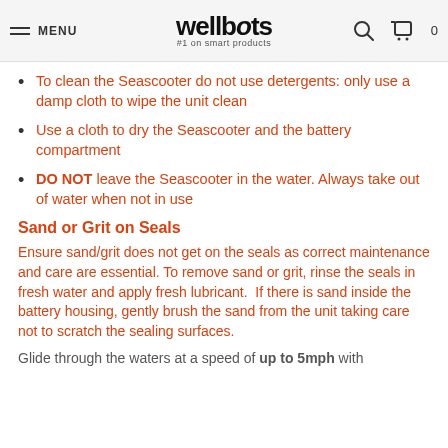MENU | wellbots #1 on smart products | [search] [cart] 0
To clean the Seascooter do not use detergents: only use a damp cloth to wipe the unit clean
Use a cloth to dry the Seascooter and the battery compartment
DO NOT leave the Seascooter in the water. Always take out of water when not in use
Sand or Grit on Seals
Ensure sand/grit does not get on the seals as correct maintenance and care are essential. To remove sand or grit, rinse the seals in fresh water and apply fresh lubricant.  If there is sand inside the battery housing, gently brush the sand from the unit taking care not to scratch the sealing surfaces.
Glide through the waters at a speed of up to 5mph with